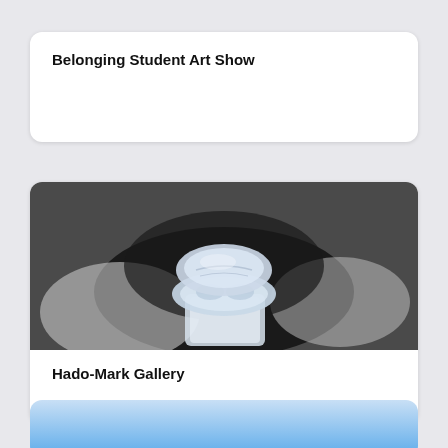Belonging Student Art Show
[Figure (photo): Black and white photograph of a translucent sculptural object resembling a knee joint or organic form, placed against a dark textured background with a bright halo effect around it.]
Hado-Mark Gallery
[Figure (photo): Blue sky photograph, partial view at bottom of the page.]